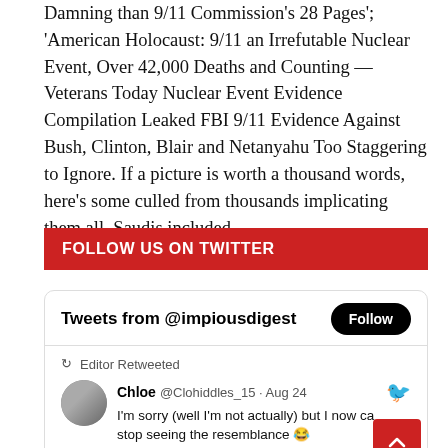Damning than 9/11 Commission's 28 Pages'; 'American Holocaust: 9/11 an Irrefutable Nuclear Event, Over 42,000 Deaths and Counting — Veterans Today Nuclear Event Evidence Compilation Leaked FBI 9/11 Evidence Against Bush, Clinton, Blair and Netanyahu Too Staggering to Ignore. If a picture is worth a thousand words, here's some culled from thousands implicating them all, Saudis included.
FOLLOW US ON TWITTER
[Figure (screenshot): Twitter widget showing tweets from @impiousdigest with a Follow button. Below is a retweet by Editor, with a tweet from Chloe @Clohiddles_15 dated Aug 24 saying: I'm sorry (well I'm not actually) but I now ca[n't] stop seeing the resemblance 😂 #micheledauber #JohnnyDeppRisesMTV]